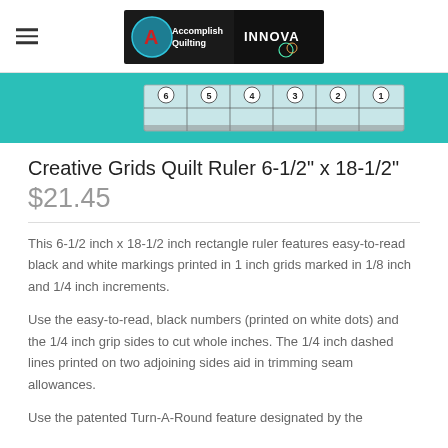Accomplish Quilting / INNOVA
[Figure (photo): A teal/turquoise banner showing a Creative Grids quilt ruler with black and white grid markings and numbered dots (1-6) on a teal background.]
Creative Grids Quilt Ruler 6-1/2" x 18-1/2"
$21.45
This 6-1/2 inch x 18-1/2 inch rectangle ruler features easy-to-read black and white markings printed in 1 inch grids marked in 1/8 inch and 1/4 inch increments.
Use the easy-to-read, black numbers (printed on white dots) and the 1/4 inch grip sides to cut whole inches. The 1/4 inch dashed lines printed on two adjoining sides aid in trimming seam allowances.
Use the patented Turn-A-Round feature designated by the